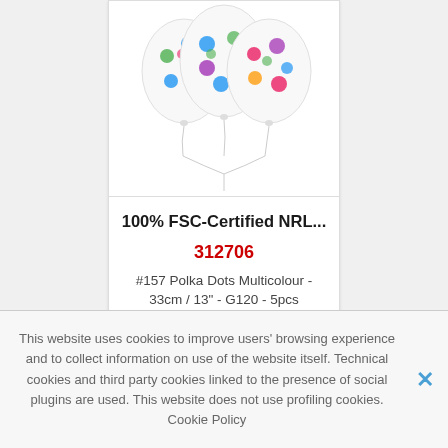[Figure (photo): Cluster of white latex balloons with multicolour polka dots (blue, green, purple, pink) on strings, photographed against white background]
100% FSC-Certified NRL...
312706
#157 Polka Dots Multicolour - 33cm / 13" - G120 - 5pcs
This website uses cookies to improve users' browsing experience and to collect information on use of the website itself. Technical cookies and third party cookies linked to the presence of social plugins are used. This website does not use profiling cookies. Cookie Policy